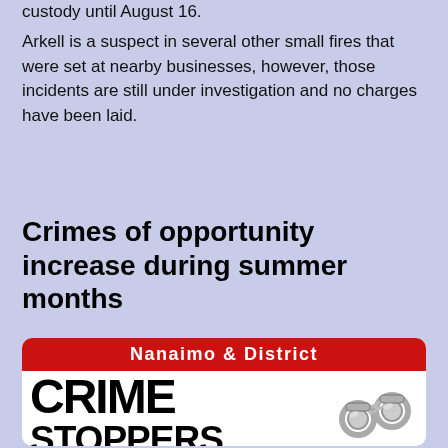custody until August 16.
Arkell is a suspect in several other small fires that were set at nearby businesses, however, those incidents are still under investigation and no charges have been laid.
Crimes of opportunity increase during summer months
[Figure (logo): Nanaimo & District CRIME STOPPERS logo with red banner and handcuffs graphic]